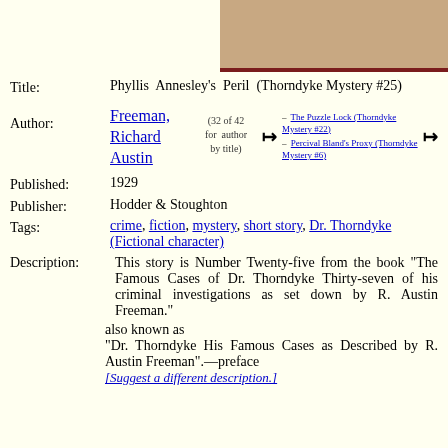[Figure (photo): Top portion of a book cover with tan/beige textured cloth binding, dark red stripe at bottom]
Title: Phyllis Annesley's Peril (Thorndyke Mystery #25)
Author: Freeman, Richard Austin (32 of 42 for author by title) — The Puzzle Lock (Thorndyke Mystery #22) — Percival Bland's Proxy (Thorndyke Mystery #6)
Published: 1929
Publisher: Hodder & Stoughton
Tags: crime, fiction, mystery, short story, Dr. Thorndyke (Fictional character)
Description: This story is Number Twenty-five from the book "The Famous Cases of Dr. Thorndyke Thirty-seven of his criminal investigations as set down by R. Austin Freeman."
also known as
"Dr. Thorndyke His Famous Cases as Described by R. Austin Freeman".—preface
[Suggest a different description.]